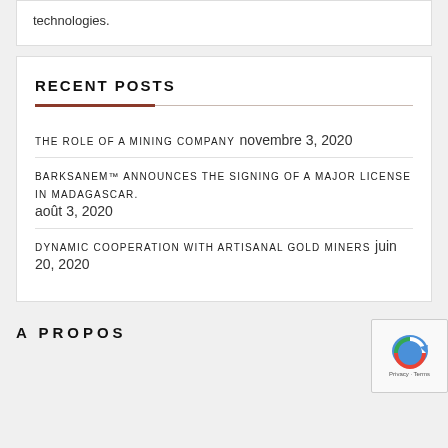technologies.
RECENT POSTS
THE ROLE OF A MINING COMPANY  novembre 3, 2020
BARKSANEM™ ANNOUNCES THE SIGNING OF A MAJOR LICENSE IN MADAGASCAR.  août 3, 2020
DYNAMIC COOPERATION WITH ARTISANAL GOLD MINERS  juin 20, 2020
A PROPOS